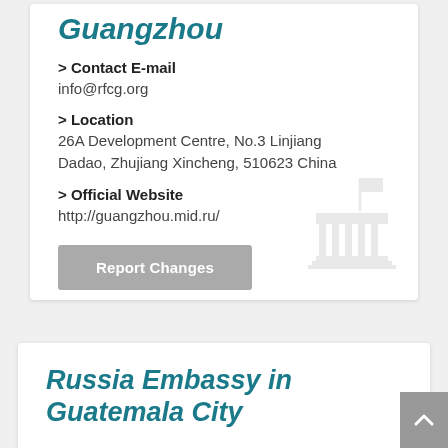Guangzhou
> Contact E-mail
info@rfcg.org
> Location
26A Development Centre, No.3 Linjiang Dadao, Zhujiang Xincheng, 510623 China
> Official Website
http://guangzhou.mid.ru/
[Figure (illustration): Gray building/embassy icon with flag]
Report Changes
Russia Embassy in Guatemala City